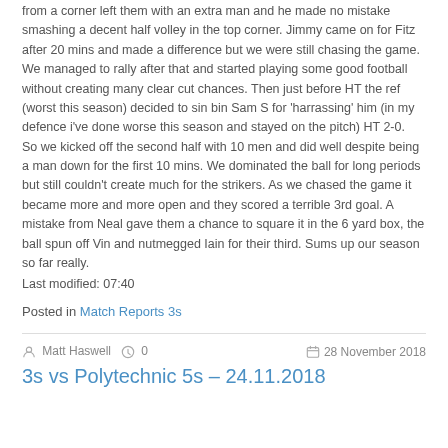from a corner left them with an extra man and he made no mistake smashing a decent half volley in the top corner. Jimmy came on for Fitz after 20 mins and made a difference but we were still chasing the game. We managed to rally after that and started playing some good football without creating many clear cut chances. Then just before HT the ref (worst this season) decided to sin bin Sam S for 'harrassing' him (in my defence i've done worse this season and stayed on the pitch) HT 2-0.
So we kicked off the second half with 10 men and did well despite being a man down for the first 10 mins. We dominated the ball for long periods but still couldn't create much for the strikers. As we chased the game it became more and more open and they scored a terrible 3rd goal. A mistake from Neal gave them a chance to square it in the 6 yard box, the ball spun off Vin and nutmegged Iain for their third. Sums up our season so far really.
Last modified: 07:40
Posted in Match Reports 3s
Matt Haswell   0   28 November 2018
3s vs Polytechnic 5s – 24.11.2018